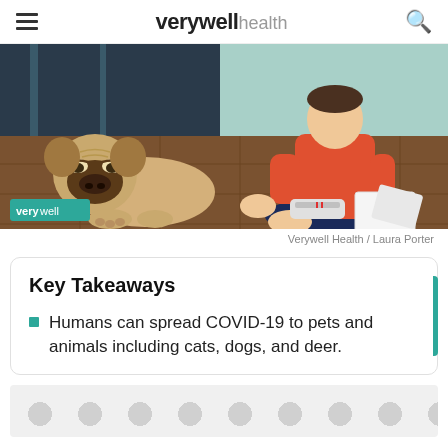verywell health
[Figure (illustration): Illustration of a sad/tired pug dog lying on a tiled floor next to a person sitting cross-legged on the floor writing on papers, with a weight scale nearby. A teal/dark background room setting. Verywell badge in bottom-left corner.]
Verywell Health / Laura Porter
Key Takeaways
Humans can spread COVID-19 to pets and animals including cats, dogs, and deer.